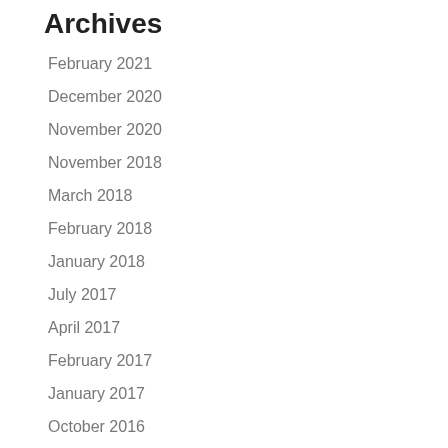Archives
February 2021
December 2020
November 2020
November 2018
March 2018
February 2018
January 2018
July 2017
April 2017
February 2017
January 2017
October 2016
September 2016
June 2016